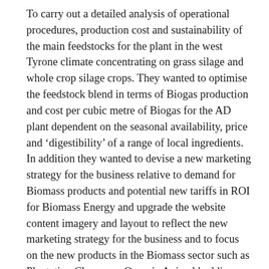To carry out a detailed analysis of operational procedures, production cost and sustainability of the main feedstocks for the plant in the west Tyrone climate concentrating on grass silage and whole crop silage crops. They wanted to optimise the feedstock blend in terms of Biogas production and cost per cubic metre of Biogas for the AD plant dependent on the seasonal availability, price and 'digestibility' of a range of local ingredients. In addition they wanted to devise a new marketing strategy for the business relative to demand for Biomass products and potential new tariffs in ROI for Biomass Energy and upgrade the website content imagery and layout to reflect the new marketing strategy for the business and to focus on the new products in the Biomass sector such as Plantation Clearance, Organic Animal bedding and fire kindling. The mentor was also charged with the co-ordination of the waste licence application to allow additional waste types from outside the farm to be accepted at the AD plant. Completion of these objectives has ensured that the business has consolidated performance in the AD enterprise through